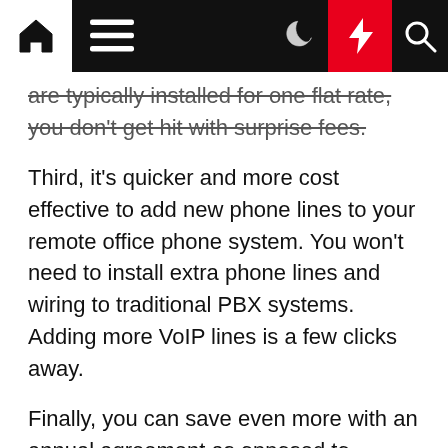Navigation bar with home, menu, moon, bolt, and search icons
are typically installed for one flat rate, you don't get hit with surprise fees.
Third, it's quicker and more cost effective to add new phone lines to your remote office phone system. You won't need to install extra phone lines and wiring to traditional PBX systems. Adding more VoIP lines is a few clicks away.
Finally, you can save even more with an annual agreement as opposed to month-to-month payments.
When it comes to cost, a VoIP-powered remote office phone system is your best investment. But what about the benefits? How does it compare to a traditional phone system?
Stay connected wherever your work takes you.